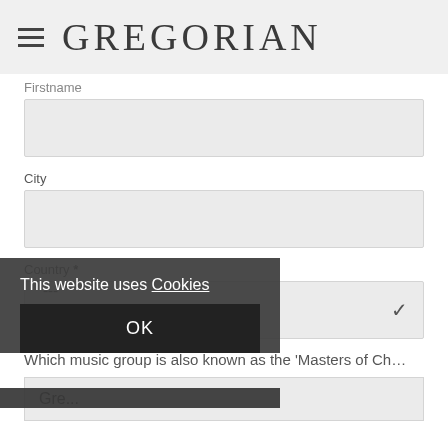GREGORIAN
Firstname
City
Country *
---
Which music group is also known as the 'Masters of Ch...
Gre...
This website uses Cookies
OK